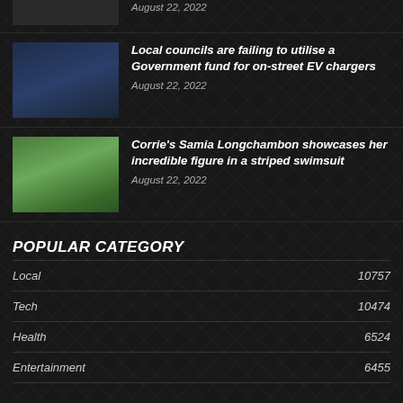August 22, 2022
Local councils are failing to utilise a Government fund for on-street EV chargers
August 22, 2022
Corrie's Samia Longchambon showcases her incredible figure in a striped swimsuit
August 22, 2022
POPULAR CATEGORY
| Category | Count |
| --- | --- |
| Local | 10757 |
| Tech | 10474 |
| Health | 6524 |
| Entertainment | 6455 |